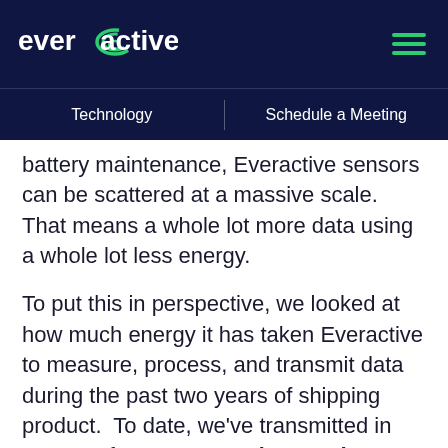everactive — Technology | Schedule a Meeting
battery maintenance, Everactive sensors can be scattered at a massive scale.  That means a whole lot more data using a whole lot less energy.
To put this in perspective, we looked at how much energy it has taken Everactive to measure, process, and transmit data during the past two years of shipping product.  To date, we've transmitted in excess of 730,000,000 data packets—a number that is growing faster and faster as we deploy more and more sensors—using a mere 1.6 kWh.  Now, if you're not intimately familiar with a kWh, let's put